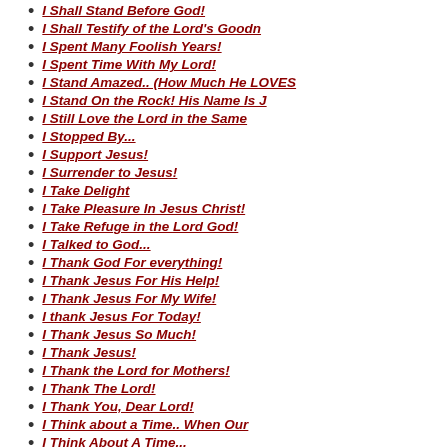I Shall Stand Before God!
I Shall Testify of the Lord's Goodn
I Spent Many Foolish Years!
I Spent Time With My Lord!
I Stand Amazed.. (How Much He LOVES
I Stand On the Rock! His Name Is J
I Still Love the Lord in the Same
I Stopped By...
I Support Jesus!
I Surrender to Jesus!
I Take Delight
I Take Pleasure In Jesus Christ!
I Take Refuge in the Lord God!
I Talked to God...
I Thank God For everything!
I Thank Jesus For His Help!
I Thank Jesus For My Wife!
I thank Jesus For Today!
I Thank Jesus So Much!
I Thank Jesus!
I Thank the Lord for Mothers!
I Thank The Lord!
I Thank You, Dear Lord!
I Think about a Time.. When Our
I Think About A Time...
I Think about God's Love!
I Think about How Things Have
I Think about the Things I've Been
I Think about What Christ Did for M
I Think about What Christ Has Done!